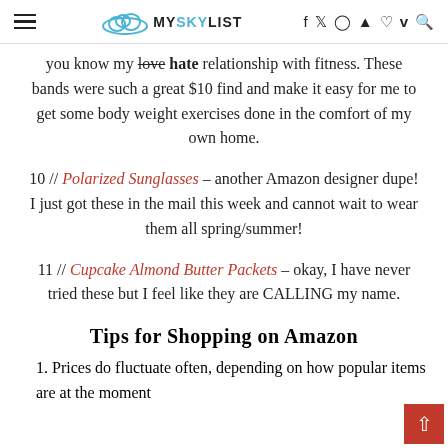MYSKYLIST
you know my love hate relationship with fitness. These bands were such a great $10 find and make it easy for me to get some body weight exercises done in the comfort of my own home.
10 // Polarized Sunglasses – another Amazon designer dupe! I just got these in the mail this week and cannot wait to wear them all spring/summer!
11 // Cupcake Almond Butter Packets – okay, I have never tried these but I feel like they are CALLING my name.
Tips for Shopping on Amazon
1. Prices do fluctuate often, depending on how popular items are at the moment